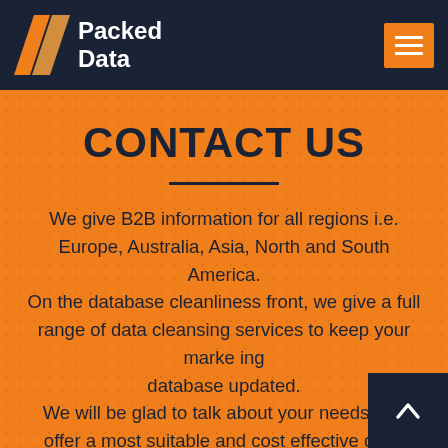Packed Data
CONTACT US
We give B2B information for all regions i.e. Europe, Australia, Asia, North and South America. On the database cleanliness front, we give a full range of data cleansing services to keep your marketing database updated. We will be glad to talk about your needs and offer a most suitable and cost effective deal. Please reach out to us.